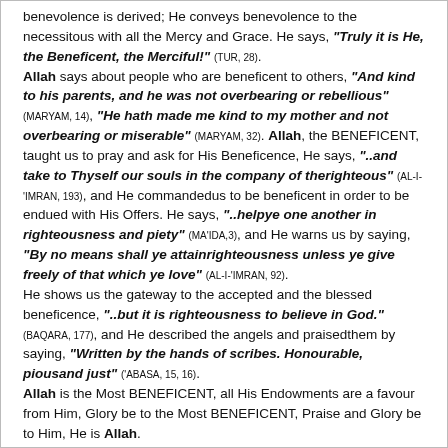benevolence is derived; He conveys benevolence to the necessitous with all the Mercy and Grace. He says, "Truly it is He, the Beneficent, the Merciful!" (TUR, 28). Allah says about people who are beneficent to others, "And kind to his parents, and he was not overbearing or rebellious" (MARYAM, 14), "He hath made me kind to my mother and not overbearing or miserable" (MARYAM, 32). Allah, the BENEFICENT, taught us to pray and ask for His Beneficence, He says, "..and take to Thyself our souls in the company of therighteous" (AL-I-'IMRAN, 193), and He commandedus to be beneficent in order to be endued with His Offers. He says, "..helpye one another in righteousness and piety" (MA'IDA,3), and He warns us by saying, "By no means shall ye attainrighteousness unless ye give freely of that which ye love" (AL-I-'IMRAN, 92). He shows us the gateway to the accepted and the blessed beneficence, "..but it is righteousness to believe in God." (BAQARA, 177), and He described the angels and praisedthem by saying, "Written by the hands of scribes. Honourable, piousand just" ('ABASA, 15, 16). Allah is the Most BENEFICENT, all His Endowments are a favour from Him, Glory be to the Most BENEFICENT, Praise and Glory be to Him, He is Allah.